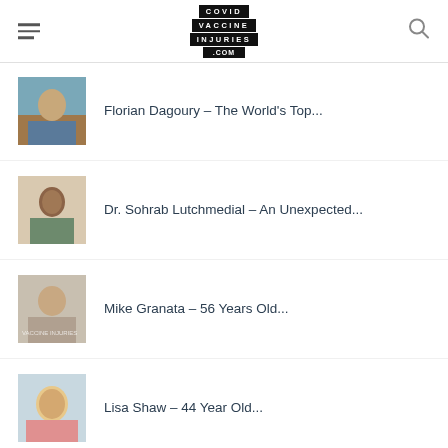COVID VACCINE INJURIES .COM
Florian Dagoury – The World's Top...
Dr. Sohrab Lutchmedial – An Unexpected...
Mike Granata – 56 Years Old...
Lisa Shaw – 44 Year Old...
Alpa Tailor – 35 Year Old...